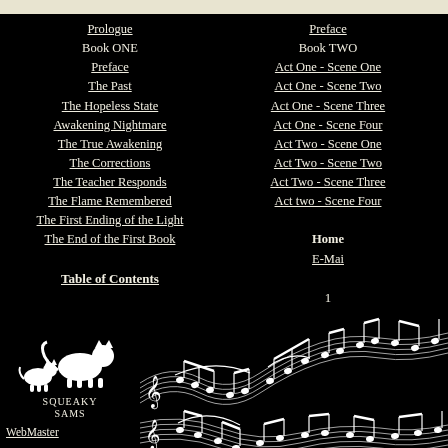[Figure (other): Beige/cream horizontal bar at top of page]
Prologue
Book ONE
Preface
The Past
The Hopeless State
Awakening Nightmare
The True Awakening
The Corrections
The Teacher Responds
The Flame Remembered
The First Ending of the Light
The End of the First Book
Table of Contents
Preface
Book TWO
Act One - Scene One
Act One - Scene Two
Act One - Scene Three
Act One - Scene Four
Act Two - Scene One
Act Two - Scene Two
Act Two - Scene Three
Act two - Scene Four
Home
E-Mai
1
[Figure (illustration): Sheet music notation on wavy staff lines, white on black, spanning the bottom portion of the page]
[Figure (logo): Squeaky Sams logo - white cat silhouette on black background with text SQUEAKY SAMS]
WebMaster